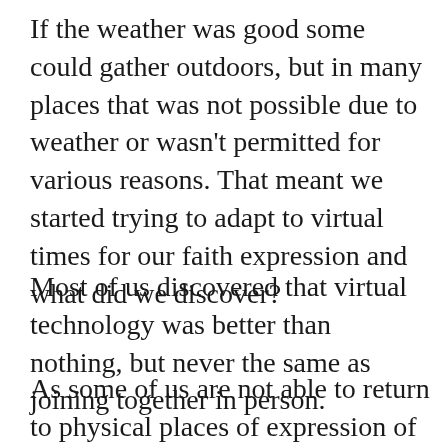If the weather was good some could gather outdoors, but in many places that was not possible due to weather or wasn't permitted for various reasons. That meant we started trying to adapt to virtual times for our faith expression and what did we discover?
Most of us discovered that virtual technology was better than nothing, but never the same as joining together in person.
As some of us are not able to return to physical places of expression of our faith, have we learned to appreciate what was so easy to critique before all this?